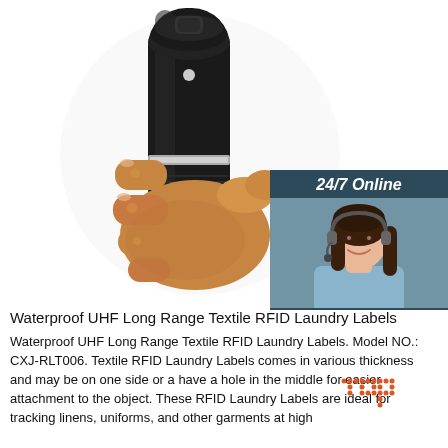[Figure (photo): A hand gripping a black cylindrical handheld RFID device/scanner with a silver ring detail, held vertically. In the upper right corner is an overlay panel showing '24/7 Online' text, a customer service representative woman wearing a headset, 'Click here for free chat!' text, and an orange 'QUOTATION' button.]
Waterproof UHF Long Range Textile RFID Laundry Labels
Waterproof UHF Long Range Textile RFID Laundry Labels. Model NO.: CXJ-RLT006. Textile RFID Laundry Labels comes in various thickness and may be on one side or a have a hole in the middle for easier attachment to the object. These RFID Laundry Labels are ideal for tracking linens, uniforms, and other garments at high temperatures...